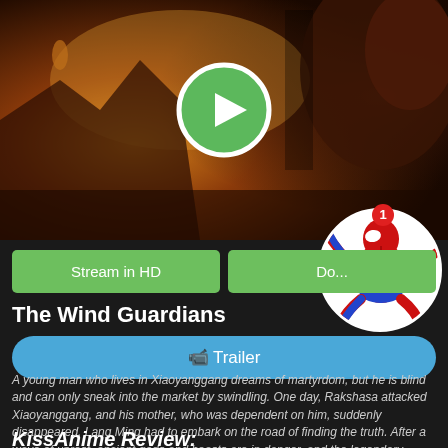[Figure (screenshot): Movie banner image for The Wind Guardians (Chinese animated film) showing dramatic landscape with mountains, fire, and a creature. Green play button overlay in center.]
[Figure (illustration): Spiderman cartoon avatar in white circle with red notification badge showing '1']
Stream in HD
Do...
The Wind Guardians
📹 Trailer
A young man who lives in Xiaoyanggang dreams of martyrdom, but he is blind and can only sneak into the market by swindling. One day, Rakshasa attacked Xiaoyanggang, and his mother, who was dependent on him, suddenly disappeared. Lang Ming had to embark on the road of finding the truth. After a wave of unrest, ancient gods and beasts are in danger, and the legendary chivalrous also appear before them. Lang Ming embarks on a journey of adventure that will change his life…
KissAnime Review: